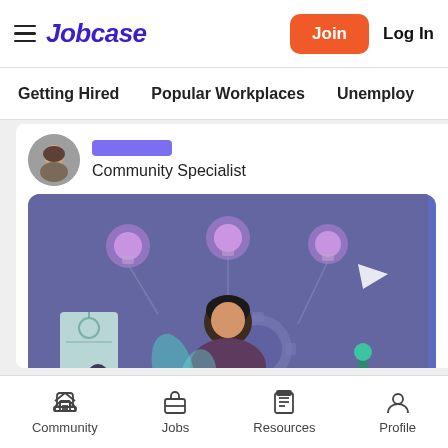Jobcase
Join  Log In
Getting Hired  Popular Workplaces  Unemploy
Community Specialist
[Figure (illustration): Illustrated scene of a person working at a laptop with lightbulb icons, gears, plants, and other figures in a purple/teal/pink color scheme representing workplace productivity.]
Community  Jobs  Resources  Profile